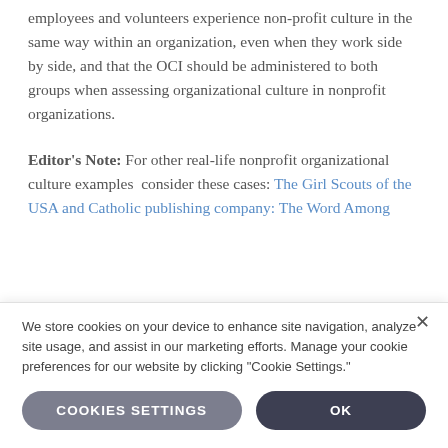employees and volunteers experience non-profit culture in the same way within an organization, even when they work side by side, and that the OCI should be administered to both groups when assessing organizational culture in nonprofit organizations.
Editor's Note: For other real-life nonprofit organizational culture examples  consider these cases: The Girl Scouts of the USA and Catholic publishing company: The Word Among
We store cookies on your device to enhance site navigation, analyze site usage, and assist in our marketing efforts. Manage your cookie preferences for our website by clicking "Cookie Settings."